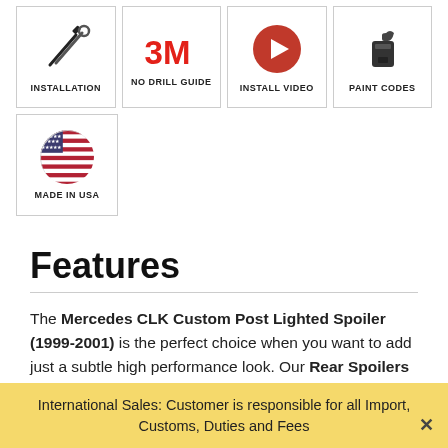[Figure (infographic): Grid of icon boxes: INSTALLATION (crossed tools icon), NO DRILL GUIDE (3M logo), INSTALL VIDEO (play button icon), PAINT CODES (paint bucket icon), MADE IN USA (US flag circle icon)]
Features
The Mercedes CLK Custom Post Lighted Spoiler (1999-2001) is the perfect choice when you want to add just a subtle high performance look. Our Rear Spoilers are manufactured right here in the USA and made to order, although we
International Sales: Customer is responsible for all Import, Customs, Duties and Fees